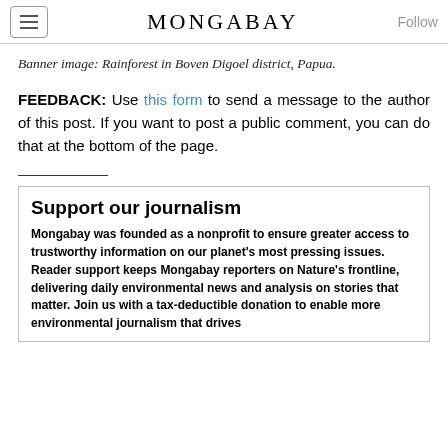MONGABAY
Banner image: Rainforest in Boven Digoel district, Papua.
FEEDBACK: Use this form to send a message to the author of this post. If you want to post a public comment, you can do that at the bottom of the page.
Support our journalism
Mongabay was founded as a nonprofit to ensure greater access to trustworthy information on our planet's most pressing issues. Reader support keeps Mongabay reporters on Nature's frontline, delivering daily environmental news and analysis on stories that matter. Join us with a tax-deductible donation to enable more environmental journalism that drives